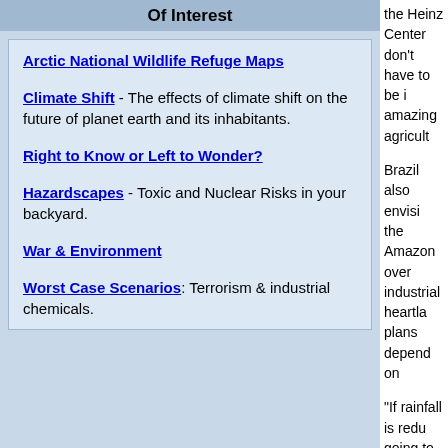Of Interest
Arctic National Wildlife Refuge Maps
Climate Shift - The effects of climate shift on the future of planet earth and its inhabitants.
Right to Know or Left to Wonder?
Hazardscapes - Toxic and Nuclear Risks in your backyard.
War & Environment
Worst Case Scenarios: Terrorism & industrial chemicals.
the Heinz Center don't have to be i amazing agricult
Brazil also envisi the Amazon over industrial heartla plans depend on
"If rainfall is redu going to have enc lakes to fill the da Amazon Institute
In addition, in 200 time since weathe the southern Braz for it, and destro
"There was no pr literature of colon climate scientist, Research.
The latest report Climate Change, century, increases water are projecte savanna in easte "crop productivity temperature incre